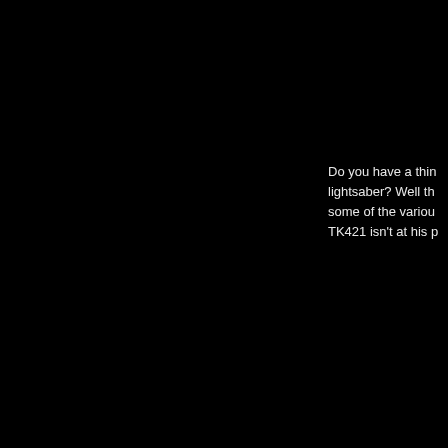Do you have a thing for lightsaber? Well th... some of the variou... TK421 isn't at his p...